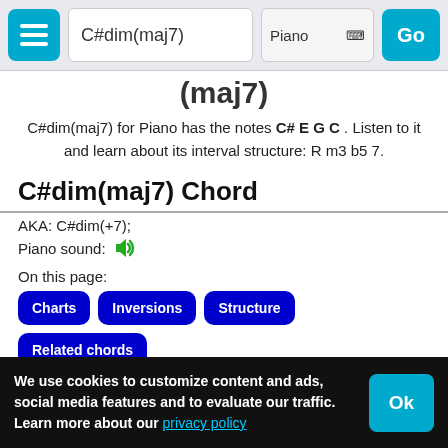C#dim(maj7) | Piano | Go
C#dim(maj7) for Piano has the notes C# E G C . Listen to it and learn about its interval structure: R m3 b5 7.
C#dim(maj7) Chord
AKA: C#dim(+7);
Piano sound:
On this page:
Charts
Inversions
Structure
Related chords
Chord on other instruments
Related scales
Chord staff
Summary table
References
Adjust notes
We use cookies to customize content and ads, social media features and to evaluate our traffic. Learn more about our privacy policy | Ok